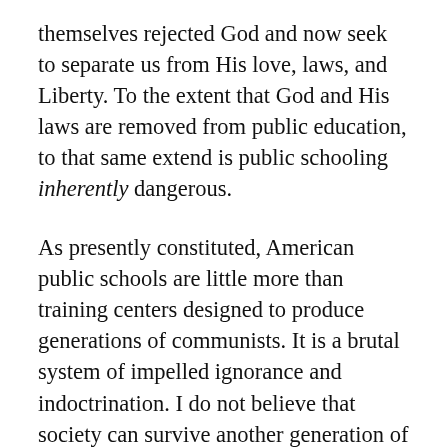themselves rejected God and now seek to separate us from His love, laws, and Liberty. To the extent that God and His laws are removed from public education, to that same extend is public schooling inherently dangerous.
As presently constituted, American public schools are little more than training centers designed to produce generations of communists. It is a brutal system of impelled ignorance and indoctrination. I do not believe that society can survive another generation of brainwashed students; that is, another generation of mindless, godless foot soldiers unwittingly fighting in the cause of communist world revolution. If we allow the state to continue forcing our children into humanistic public schools where they imbibe Darwinian